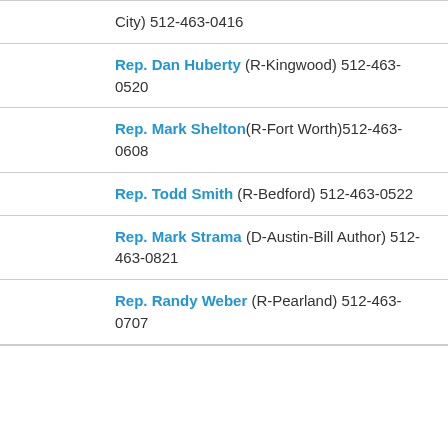City) 512-463-0416
Rep. Dan Huberty (R-Kingwood) 512-463-0520
Rep. Mark Shelton (R-Fort Worth) 512-463-0608
Rep. Todd Smith (R-Bedford) 512-463-0522
Rep. Mark Strama (D-Austin-Bill Author) 512-463-0821
Rep. Randy Weber (R-Pearland) 512-463-0707